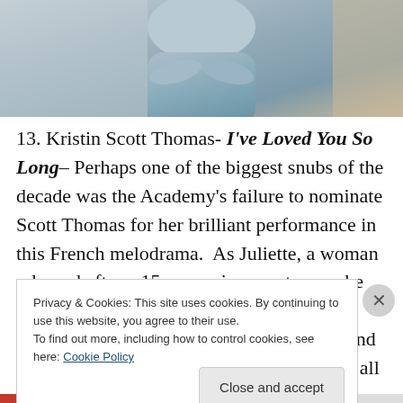[Figure (photo): Partial photo of a person wearing a light blue sweater, seated or leaning forward, photographed from behind/side angle. Background is blurred interior scene.]
13. Kristin Scott Thomas- I've Loved You So Long– Perhaps one of the biggest snubs of the decade was the Academy's failure to nominate Scott Thomas for her brilliant performance in this French melodrama.  As Juliette, a woman released after a 15 year prison sentence, she keeps you riveted even when the movie doesn't. Key Scene- Her meltdown at the end after keeping it cool for the entire movie is all the more
Privacy & Cookies: This site uses cookies. By continuing to use this website, you agree to their use.
To find out more, including how to control cookies, see here: Cookie Policy
Close and accept